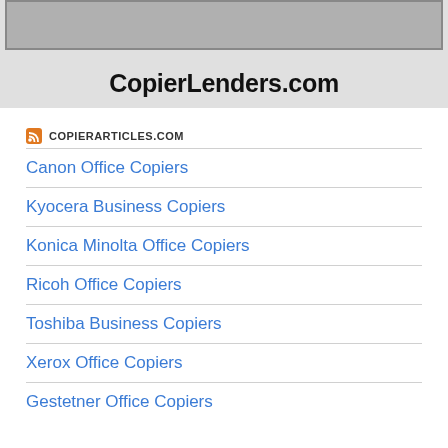[Figure (photo): Banner image showing CopierLenders.com with a photo at top and the website name in bold text below]
COPIERARTICLES.COM
Canon Office Copiers
Kyocera Business Copiers
Konica Minolta Office Copiers
Ricoh Office Copiers
Toshiba Business Copiers
Xerox Office Copiers
Gestetner Office Copiers